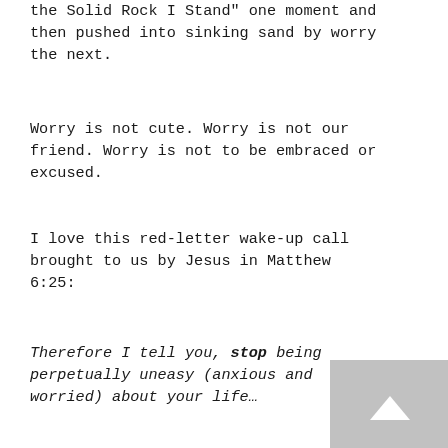the Solid Rock I Stand" one moment and then pushed into sinking sand by worry the next.
Worry is not cute. Worry is not our friend. Worry is not to be embraced or excused.
I love this red-letter wake-up call brought to us by Jesus in Matthew 6:25:
Therefore I tell you, stop being perpetually uneasy (anxious and worried) about your life…
Put an end to your worrying! Make it stop, Jesus says! You're wasting your time. I've got too much for you to